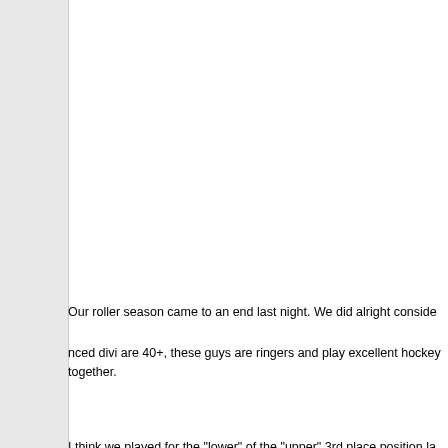Our roller season came to an end last night. We did alright considering we're in the "Upper 40+" division. Two of the teams there should be in an advanced division. They are 40+, these guys are ringers and play excellent hockey together.
I think we played for the "lower" of the "upper" 3rd place position last night, it's confusing. I think the final score was 9-4? We were being shutout until @eddieschack23 had a nice shot where he was trying to snipe a top corner, hit the shoulder and then literally plopped down flat and stopped like half a foot from the line, was too far away to tap it in, those are the worst! I ended up netting one with a Top Titty type of wrester from a steep angle off to the goalies left, from somewhere between the dot and goal line. Our d'man was coming down the middle and fed me down low with a nice pass. I scooped it, cupped it, and weighted my shot to get some fly...zoooom, over the goalies shoulder and into the back of the net! They scored 2 more goals in a matter of minutes, but then we scored 3 more back in a row. The team we played is half full of stick-work hacks and guys that think they are allowed to slash your lower back followed up by punches to your upper body. Last night was tame though, although I feel like I got slashed a couple times (a la shin pad echo). No official calls were made. No biggie, it didn't hurt my leg.
beedee
Quote:
Originally Posted by daxx
Well I guess I'm the lone voice of reason here (just kidding...). WITH a puck on sport court. I've found that I like the game pla...